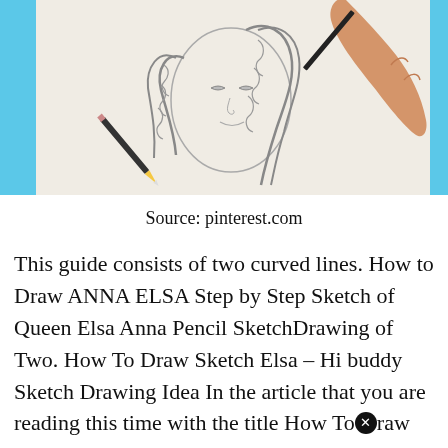[Figure (photo): A person's hand holding a pencil drawing a sketch of a girl with braided hair on white paper, placed on a light blue background. The sketch shows a face and braided hair in pencil.]
Source: pinterest.com
This guide consists of two curved lines. How to Draw ANNA ELSA Step by Step Sketch of Queen Elsa Anna Pencil SketchDrawing of Two. How To Draw Sketch Elsa – Hi buddy Sketch Drawing Idea In the article that you are reading this time with the title How Toⓧraw Sketch Elsa we.